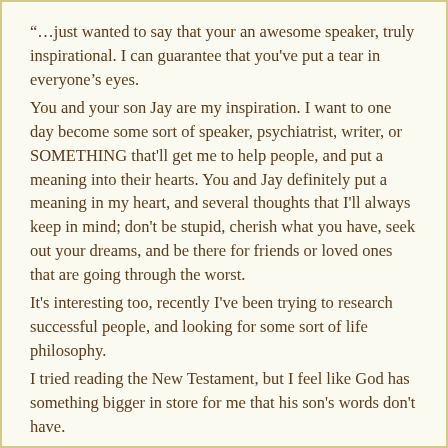“…just wanted to say that your an awesome speaker, truly inspirational. I can guarantee that you've put a tear in everyone's eyes.
You and your son Jay are my inspiration. I want to one day become some sort of speaker, psychiatrist, writer, or SOMETHING that'll get me to help people, and put a meaning into their hearts. You and Jay definitely put a meaning in my heart, and several thoughts that I'll always keep in mind; don't be stupid, cherish what you have, seek out your dreams, and be there for friends or loved ones that are going through the worst.
It's interesting too, recently I've been trying to research successful people, and looking for some sort of life philosophy.
I tried reading the New Testament, but I feel like God has something bigger in store for me that his son's words don't have.